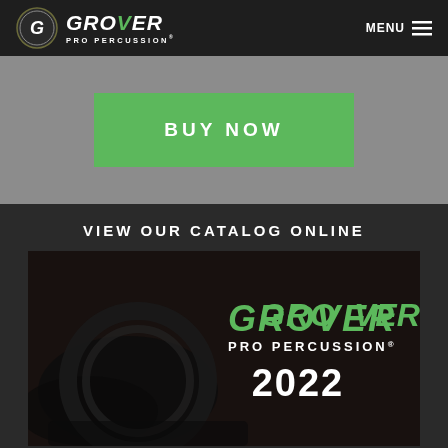[Figure (logo): Grover Pro Percussion logo with circular G emblem and italic bold text, with MENU hamburger icon on the right]
BUY NOW
VIEW OUR CATALOG ONLINE
[Figure (photo): Grover Pro Percussion 2022 catalog cover showing percussion instruments on dark background with green Grover Pro Percussion logo and 2022 text]